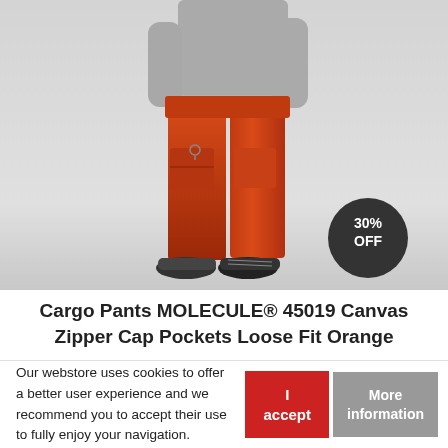[Figure (photo): A man wearing a grey t-shirt and orange cargo pants with zipper cap pockets, walking. A dark circular badge in the lower right reads '30% OFF'.]
Cargo Pants MOLECULE® 45019 Canvas Zipper Cap Pockets Loose Fit Orange
59,50 € 85,00 €
Our webstore uses cookies to offer a better user experience and we recommend you to accept their use to fully enjoy your navigation.